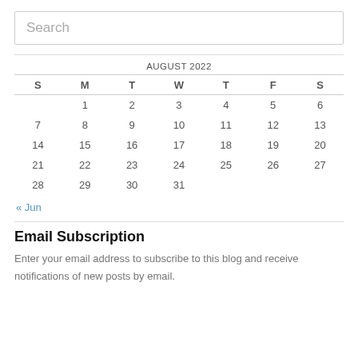Search
| S | M | T | W | T | F | S |
| --- | --- | --- | --- | --- | --- | --- |
|  | 1 | 2 | 3 | 4 | 5 | 6 |
| 7 | 8 | 9 | 10 | 11 | 12 | 13 |
| 14 | 15 | 16 | 17 | 18 | 19 | 20 |
| 21 | 22 | 23 | 24 | 25 | 26 | 27 |
| 28 | 29 | 30 | 31 |  |  |  |
« Jun
Email Subscription
Enter your email address to subscribe to this blog and receive notifications of new posts by email.